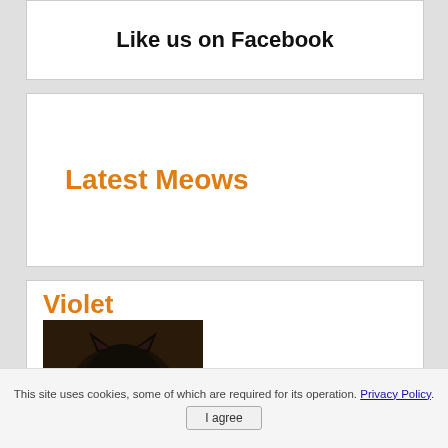Like us on Facebook
Latest Meows
Violet
[Figure (photo): Photo of a black cat with yellow-green eyes looking directly at the camera]
The year is 2018. Since 2015, I had gotten confirmation that the world was getting the long-awaited sequel to Disney/Pixar's The
This site uses cookies, some of which are required for its operation. Privacy Policy.
I agree